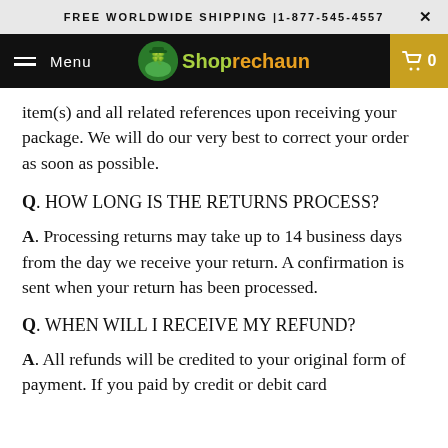FREE WORLDWIDE SHIPPING |1-877-545-4557
[Figure (logo): Shoprechaun website navigation bar with hamburger menu, leprechaun logo, and cart button showing 0 items]
item(s) and all related references upon receiving your package. We will do our very best to correct your order as soon as possible.
Q. HOW LONG IS THE RETURNS PROCESS?
A. Processing returns may take up to 14 business days from the day we receive your return. A confirmation is sent when your return has been processed.
Q. WHEN WILL I RECEIVE MY REFUND?
A. All refunds will be credited to your original form of payment. If you paid by credit or debit card